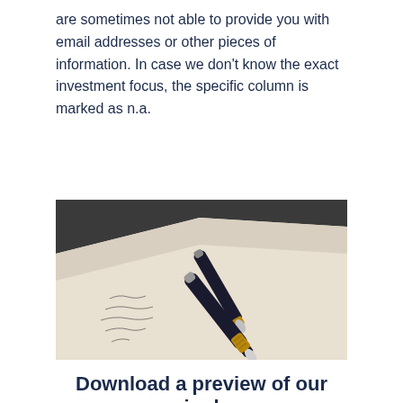are sometimes not able to provide you with email addresses or other pieces of information. In case we don't know the exact investment focus, the specific column is marked as n.a.
[Figure (photo): A close-up photo of a fountain pen resting on a white paper with cursive handwriting, on a dark background.]
Download a preview of our single